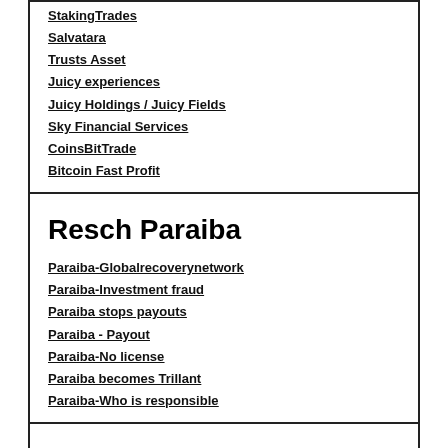StakingTrades
Salvatara
Trusts Asset
Juicy experiences
Juicy Holdings / Juicy Fields
Sky Financial Services
CoinsBitTrade
Bitcoin Fast Profit
Resch Paraiba
Paraiba-Globalrecoverynetwork
Paraiba-Investment fraud
Paraiba stops payouts
Paraiba - Payout
Paraiba-No license
Paraiba becomes Trillant
Paraiba-Who is responsible